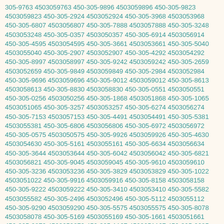305-9763 4503059763 450-305-9896 4503059896 450-305-9823 4503059823 450-305-2924 4503052924 450-305-3968 4503053968 450-305-6807 4503056807 450-305-7888 4503057888 450-305-3248 4503053248 450-305-0357 4503050357 450-305-6914 4503056914 450-305-4595 4503054595 450-305-3661 4503053661 450-305-5040 4503055040 450-305-2907 4503052907 450-305-4292 4503054292 450-305-8997 4503058997 450-305-9242 4503059242 450-305-2659 4503052659 450-305-9849 4503059849 450-305-2984 4503052984 450-305-9696 4503059696 450-305-9012 4503059012 450-305-8613 4503058613 450-305-8830 4503058830 450-305-0551 4503050551 450-305-0256 4503050256 450-305-1868 4503051868 450-305-1065 4503051065 450-305-3257 4503053257 450-305-6274 4503056274 450-305-7153 4503057153 450-305-4491 4503054491 450-305-5381 4503055381 450-305-6806 4503056806 450-305-6972 4503056972 450-305-0575 4503050575 450-305-9926 4503059926 450-305-4630 4503054630 450-305-5161 4503055161 450-305-6634 4503056634 450-305-3644 4503053644 450-305-6042 4503056042 450-305-6821 4503056821 450-305-9045 4503059045 450-305-9610 4503059610 450-305-3236 4503053236 450-305-3829 4503053829 450-305-1022 4503051022 450-305-9916 4503059916 450-305-8158 4503058158 450-305-9222 4503059222 450-305-3410 4503053410 450-305-5582 4503055582 450-305-2496 4503052496 450-305-5112 4503055112 450-305-9290 4503059290 450-305-5575 4503055575 450-305-8078 4503058078 450-305-5169 4503055169 450-305-1661 4503051661 450-305-9879 4503059879 450-305-1167 4503051167 450-305-2685 4503052685 450-305-3907 4503053907 450-305-0338 4503050338 450-305-1849 4503051849 450-305-6699 4503056699 450-305-5222